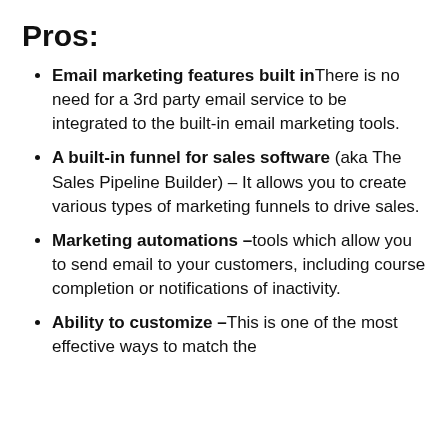Pros:
Email marketing features built in — There is no need for a 3rd party email service to be integrated to the built-in email marketing tools.
A built-in funnel for sales software (aka The Sales Pipeline Builder) – It allows you to create various types of marketing funnels to drive sales.
Marketing automations – tools which allow you to send email to your customers, including course completion or notifications of inactivity.
Ability to customize – This is one of the most effective ways to match the